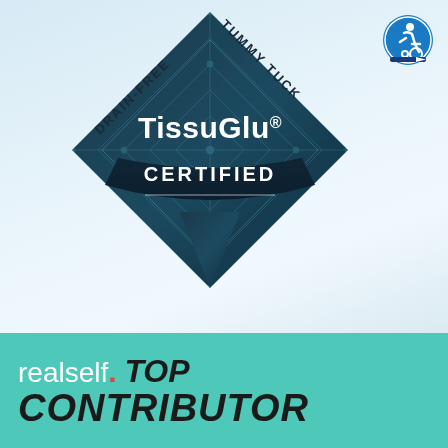[Figure (logo): TissuGlu Certified badge for Drain-Free Tummy Tuck. Diamond/kite shaped dark teal badge with geometric grid pattern, text 'DRAIN-FREE' on left edge, 'TUMMY TUCK' on right edge, 'TissuGlu®' in bold white text, and 'CERTIFIED' on a dark banner ribbon.]
[Figure (logo): Accessibility logo - blue circle with white wheelchair user icon and arrow, indicating some kind of certified accessibility or mobility designation.]
[Figure (logo): RealSelf Top Contributor banner. Teal/mint green background with white text 'realself.' followed by red period, dark bold italic 'TOP' and dark bold italic large 'CONTRIBUTOR' text below.]